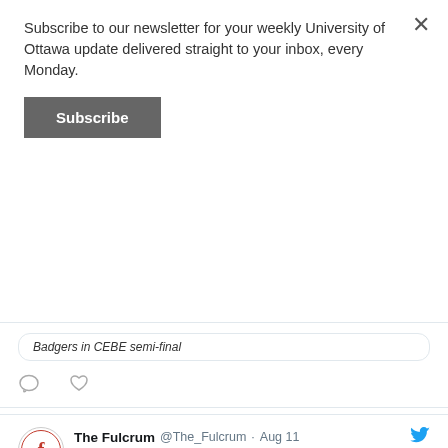Subscribe to our newsletter for your weekly University of Ottawa update delivered straight to your inbox, every Monday.
Subscribe
Badgers in CEBE semi-final
[Figure (screenshot): Tweet icons: comment bubble and heart]
[Figure (screenshot): The Fulcrum @The_Fulcrum · Aug 11 tweet: Gee-Gees track and field team has their varsity status ripped away. The track and field team will face a significant loss of funding and privileges as they are moved from varsity to varsity club. ow.ly/al0w50KieUf with The Fulcrum circular logo avatar and Twitter bird icon]